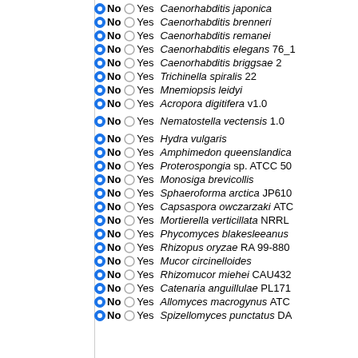No Yes Caenorhabditis japonica
No Yes Caenorhabditis brenneri
No Yes Caenorhabditis remanei
No Yes Caenorhabditis elegans 76_1
No Yes Caenorhabditis briggsae 2
No Yes Trichinella spiralis 22
No Yes Mnemiopsis leidyi
No Yes Acropora digitifera v1.0
No Yes Nematostella vectensis 1.0
No Yes Hydra vulgaris
No Yes Amphimedon queenslandica
No Yes Proterospongia sp. ATCC 50
No Yes Monosiga brevicollis
No Yes Sphaeroforma arctica JP610
No Yes Capsaspora owczarzaki ATC
No Yes Mortierella verticillata NRRL
No Yes Phycomyces blakesleeanus
No Yes Rhizopus oryzae RA 99-880
No Yes Mucor circinelloides
No Yes Rhizomucor miehei CAU432
No Yes Catenaria anguillulae PL171
No Yes Allomyces macrogynus ATC
No Yes Spizellomyces punctatus DA